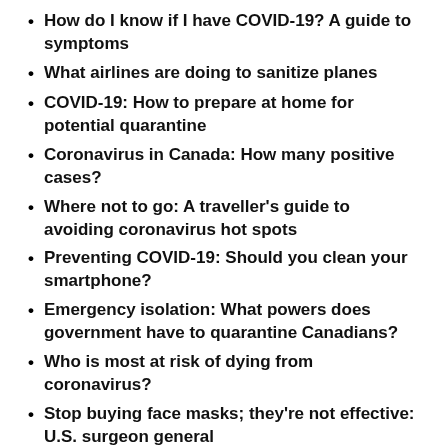How do I know if I have COVID-19? A guide to symptoms
What airlines are doing to sanitize planes
COVID-19: How to prepare at home for potential quarantine
Coronavirus in Canada: How many positive cases?
Where not to go: A traveller's guide to avoiding coronavirus hot spots
Preventing COVID-19: Should you clean your smartphone?
Emergency isolation: What powers does government have to quarantine Canadians?
Who is most at risk of dying from coronavirus?
Stop buying face masks; they're not effective: U.S. surgeon general
Novel coronavirus in Canada: Here's a timeline of COVID-19 cases across the country
The Canadian government also said that all neighbouring